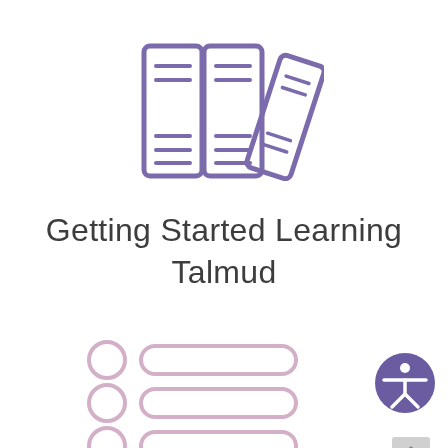[Figure (illustration): Purple outline icon of three books standing upright, resembling a library shelf icon]
Getting Started Learning Talmud
[Figure (illustration): Light purple/mauve UI loading placeholder showing three rows each with a circle on the left and a rounded rectangle bar on the right, suggesting a list loading state]
[Figure (illustration): Purple accessibility icon button (person in circle) in lower right]
[Figure (illustration): Grey scroll-to-top button with upward chevron in lower right corner, partially visible]